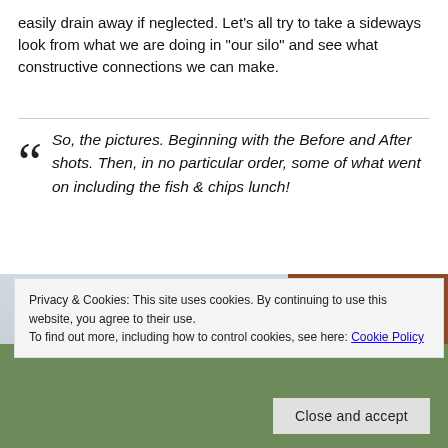easily drain away if neglected. Let’s all try to take a sideways look from what we are doing in “our silo” and see what constructive connections we can make.
So, the pictures. Beginning with the Before and After shots. Then, in no particular order, some of what went on including the fish & chips lunch!
[Figure (photo): Photograph showing a building with red brick walls and windows, a tree in the middle, and a garden area below, with an overcast sky.]
Privacy & Cookies: This site uses cookies. By continuing to use this website, you agree to their use.
To find out more, including how to control cookies, see here: Cookie Policy
Close and accept